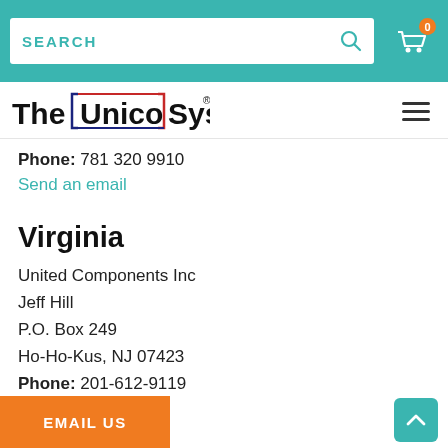SEARCH
[Figure (logo): The Unico System logo with navy and red accent lines]
Phone: 781 320 9910
Send an email
Virginia
United Components Inc
Jeff Hill
P.O. Box 249
Ho-Ho-Kus, NJ 07423
Phone: 201-612-9119
Send an email